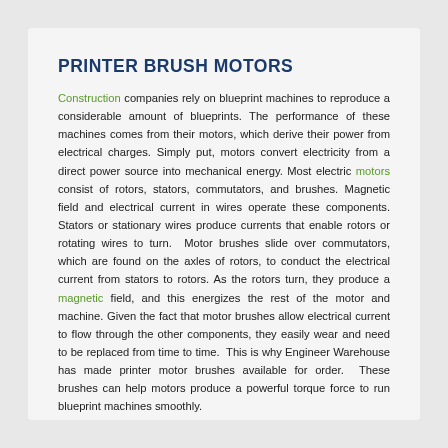PRINTER BRUSH MOTORS
Construction companies rely on blueprint machines to reproduce a considerable amount of blueprints. The performance of these machines comes from their motors, which derive their power from electrical charges. Simply put, motors convert electricity from a direct power source into mechanical energy. Most electric motors consist of rotors, stators, commutators, and brushes. Magnetic field and electrical current in wires operate these components. Stators or stationary wires produce currents that enable rotors or rotating wires to turn. Motor brushes slide over commutators, which are found on the axles of rotors, to conduct the electrical current from stators to rotors. As the rotors turn, they produce a magnetic field, and this energizes the rest of the motor and machine. Given the fact that motor brushes allow electrical current to flow through the other components, they easily wear and need to be replaced from time to time. This is why Engineer Warehouse has made printer motor brushes available for order. These brushes can help motors produce a powerful torque force to run blueprint machines smoothly.